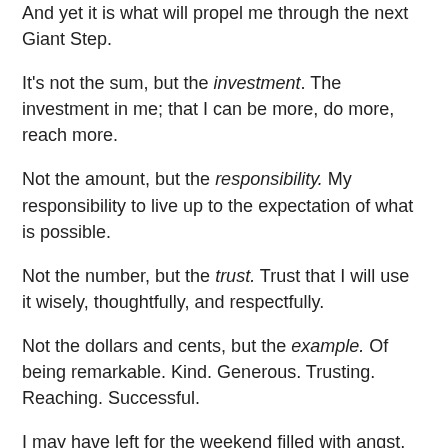And yet it is what will propel me through the next Giant Step.
It's not the sum, but the investment. The investment in me; that I can be more, do more, reach more.
Not the amount, but the responsibility. My responsibility to live up to the expectation of what is possible.
Not the number, but the trust. Trust that I will use it wisely, thoughtfully, and respectfully.
Not the dollars and cents, but the example. Of being remarkable. Kind. Generous. Trusting. Reaching. Successful.
I may have left for the weekend filled with angst, self pity and doubt; worrying we aren't getting anywhere quickly and that opportunities existed